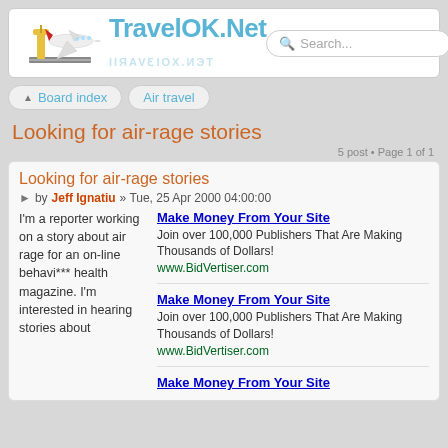TravelOK.Net
Search...
Board index  Air travel
Looking for air-rage stories
5 post • Page 1 of 1
Looking for air-rage stories
by Jeff Ignatiu » Tue, 25 Apr 2000 04:00:00
Make Money From Your Site
Join over 100,000 Publishers That Are Making Thousands of Dollars!
www.BidVertiser.com
I'm a reporter working on a story about air rage for an on-line behavi*** health magazine. I'm interested in hearing stories about
Make Money From Your Site
Join over 100,000 Publishers That Are Making Thousands of Dollars!
www.BidVertiser.com
Make Money From Your Site